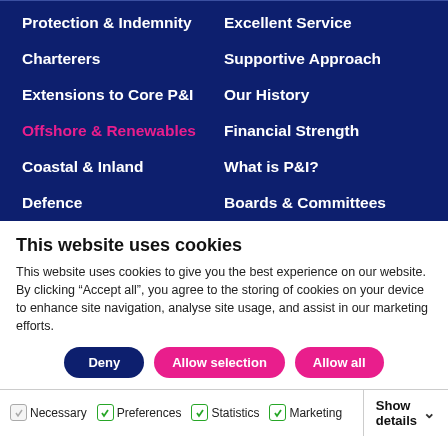Protection & Indemnity
Excellent Service
Charterers
Supportive Approach
Extensions to Core P&I
Our History
Offshore & Renewables
Financial Strength
Coastal & Inland
What is P&I?
Defence
Boards & Committees
This website uses cookies
This website uses cookies to give you the best experience on our website. By clicking “Accept all”, you agree to the storing of cookies on your device to enhance site navigation, analyse site usage, and assist in our marketing efforts.
Deny | Allow selection | Allow all
Necessary | Preferences | Statistics | Marketing | Show details